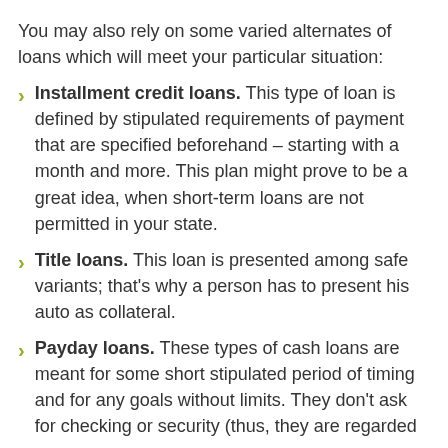You may also rely on some varied alternates of loans which will meet your particular situation:
Installment credit loans. This type of loan is defined by stipulated requirements of payment that are specified beforehand – starting with a month and more. This plan might prove to be a great idea, when short-term loans are not permitted in your state.
Title loans. This loan is presented among safe variants; that's why a person has to present his auto as collateral.
Payday loans. These types of cash loans are meant for some short stipulated period of timing and for any goals without limits. They don't ask for checking or security (thus, they are regarded as no